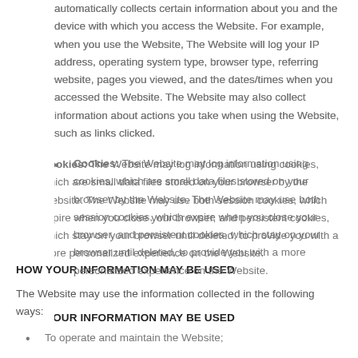automatically collects certain information about you and the device with which you access the Website. For example, when you use the Website, The Website will log your IP address, operating system type, browser type, referring website, pages you viewed, and the dates/times when you accessed the Website. The Website may also collect information about actions you take when using the Website, such as links clicked.
Cookies: The Website may log information using cookies, which are small data files stored on your browser by the Website. The Website may use both session cookies, which expire when you close your browser, and persistent cookies, which stay on your browser until deleted, to provide you with a more personalized experience on the Website.
HOW YOUR INFORMATION MAY BE USED
The Website may use the information collected in the following ways:
To operate and maintain the Website;
To fulfill orders or oversee contests or promotions;